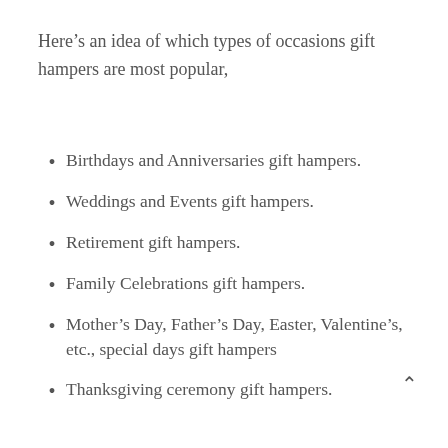Here’s an idea of which types of occasions gift hampers are most popular,
Birthdays and Anniversaries gift hampers.
Weddings and Events gift hampers.
Retirement gift hampers.
Family Celebrations gift hampers.
Mother’s Day, Father’s Day, Easter, Valentine’s, etc., special days gift hampers
Thanksgiving ceremony gift hampers.